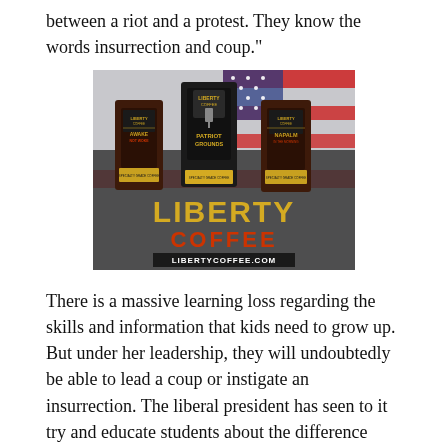between a riot and a protest. They know the words insurrection and coup."
[Figure (photo): Advertisement for Liberty Coffee showing three dark coffee bags labeled 'Awake Not Woke', 'Patriot Grounds', and 'Napalm in the Morning', set against an American flag background, with large text reading 'LIBERTY COFFEE' and 'LIBERTYCOFFEE.COM' at the bottom.]
There is a massive learning loss regarding the skills and information that kids need to grow up. But under her leadership, they will undoubtedly be able to lead a coup or instigate an insurrection. The liberal president has seen to it try and educate students about the difference between a